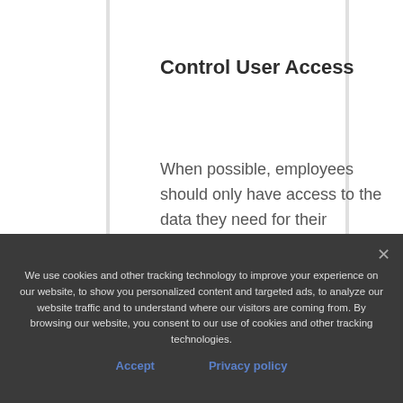Control User Access
When possible, employees should only have access to the data they need for their positions, and sensitive data should only be accessible to authorized users. It's
We use cookies and other tracking technology to improve your experience on our website, to show you personalized content and targeted ads, to analyze our website traffic and to understand where our visitors are coming from. By browsing our website, you consent to our use of cookies and other tracking technologies.
Accept
Privacy policy